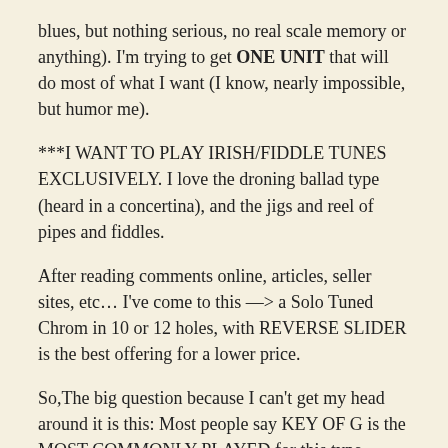blues, but nothing serious, no real scale memory or anything). I'm trying to get ONE UNIT that will do most of what I want (I know, nearly impossible, but humor me).
***I WANT TO PLAY IRISH/FIDDLE TUNES EXCLUSIVELY. I love the droning ballad type (heard in a concertina), and the jigs and reel of pipes and fiddles.
After reading comments online, articles, seller sites, etc… I've come to this —> a Solo Tuned Chrom in 10 or 12 holes, with REVERSE SLIDER is the best offering for a lower price.
So,The big question because I can't get my head around it is this: Most people say KEY OF G is the MOST COMMONLY PLAYED for this type. Followed by KEY OF D. But the REVERSE SLIDER DOESNT WORK WELL
…….I read on the Session List and elsewhere that a